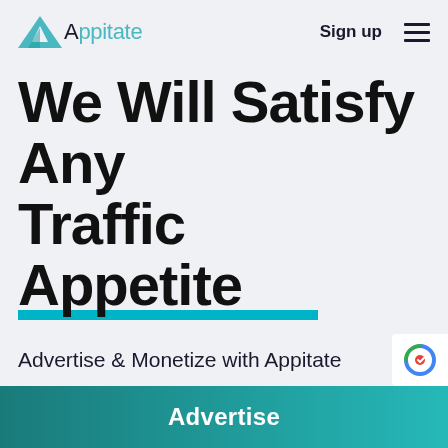[Figure (logo): Appitate logo with teal triangle icon and text 'Appitate']
Sign up
[Figure (other): Hamburger menu icon (three horizontal lines)]
We Will Satisfy Any Traffic Appetite
Advertise & Monetize with Appitate
Advertise